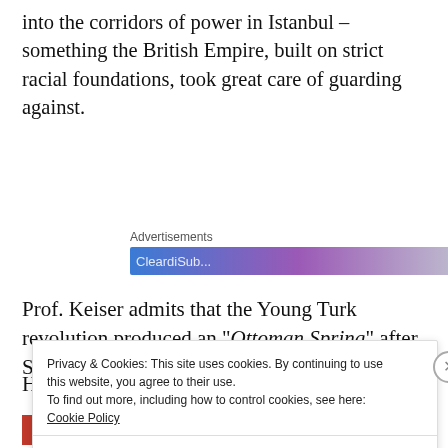into the corridors of power in Istanbul – something the British Empire, built on strict racial foundations, took great care of guarding against.
[Figure (other): Advertisements banner section with a blue-to-purple gradient ad banner and partially visible text]
Prof. Keiser admits that the Young Turk revolution produced an "Ottoman Spring" after Sultan Abdul
[Figure (screenshot): Privacy & Cookies popup overlay: 'This site uses cookies. By continuing to use this website, you agree to their use. To find out more, including how to control cookies, see here: Cookie Policy' with a 'Close and accept' button and an X close button]
[Figure (other): Bottom advertisement banner strip with red, gray and dark sections]